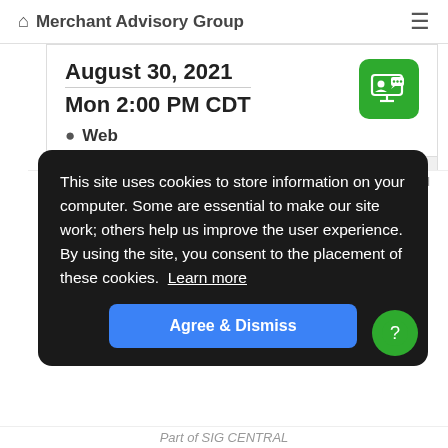Merchant Advisory Group
August 30, 2021
Mon 2:00 PM CDT
Web
AC21 Small Ticket / Restaurant SIG
This site uses cookies to store information on your computer. Some are essential to make our site work; others help us improve the user experience. By using the site, you consent to the placement of these cookies. Learn more
Agree & Dismiss
Part of SIG CENTRAL